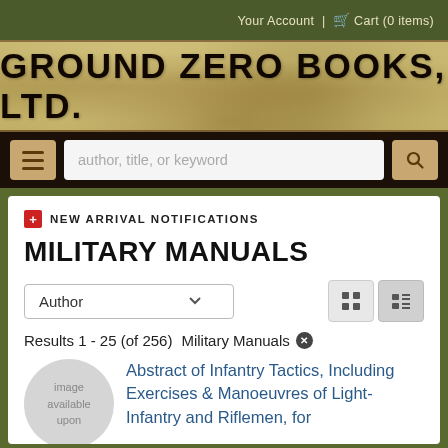Your Account | Cart (0 items)
[Figure (logo): Ground Zero Books, Ltd. logo banner on aged paper/parchment background]
author, title, or keyword (search input placeholder)
NEW ARRIVAL NOTIFICATIONS
MILITARY MANUALS
Author (sort dropdown)
Results 1 - 25 (of 256)  Military Manuals ✕
Abstract of Infantry Tactics, Including Exercises & Manoeuvres of Light-Infantry and Riflemen, for